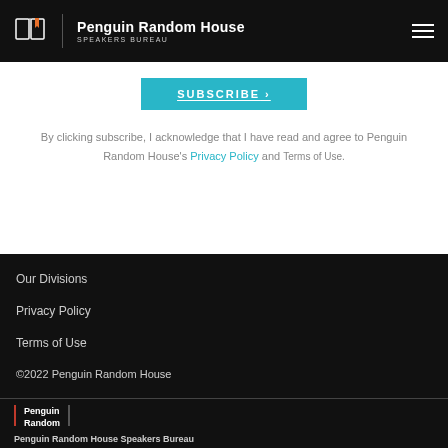Penguin Random House SPEAKERS BUREAU
SUBSCRIBE
By clicking subscribe, I acknowledge that I have read and agree to Penguin Random House's Privacy Policy and Terms of Use.
Our Divisions
Privacy Policy
Terms of Use
©2022 Penguin Random House
[Figure (logo): Penguin Random House wordmark logo with orange/red vertical bars]
Penguin Random House Speakers Bureau